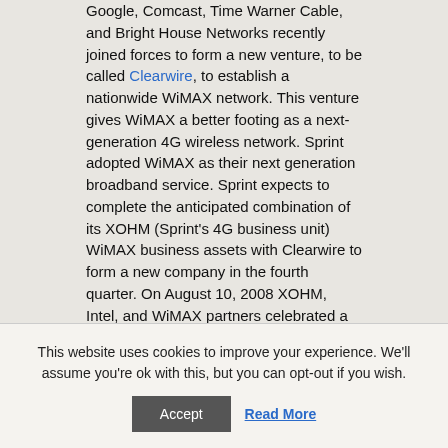Google, Comcast, Time Warner Cable, and Bright House Networks recently joined forces to form a new venture, to be called Clearwire, to establish a nationwide WiMAX network. This venture gives WiMAX a better footing as a next-generation 4G wireless network. Sprint adopted WiMAX as their next generation broadband service. Sprint expects to complete the anticipated combination of its XOHM (Sprint's 4G business unit) WiMAX business assets with Clearwire to form a new company in the fourth quarter. On August 10, 2008 XOHM, Intel, and WiMAX partners celebrated a new 4G broadband era with WiMAX service in Baltimore, and the slated next cities to be Chicago, Illinois and Washington, D.C. XOHM USB WiMax dongles by ZTE have
This website uses cookies to improve your experience. We'll assume you're ok with this, but you can opt-out if you wish.
Accept | Read More